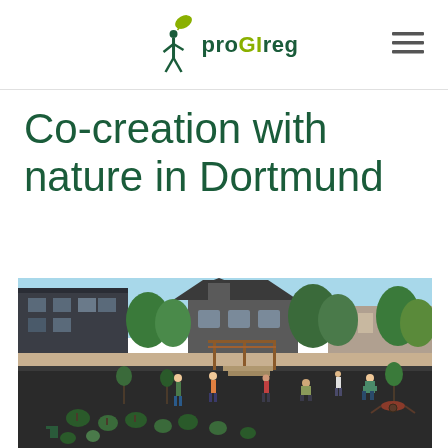proGIreg
Co-creation with nature in Dortmund
[Figure (photo): Outdoor community garden scene in Dortmund showing people planting shrubs and small trees on a large dark mulched ground area, with residential buildings and trees visible in the background. Several people are working across the space, some carrying plants. A wooden pergola structure is visible in the mid-ground.]